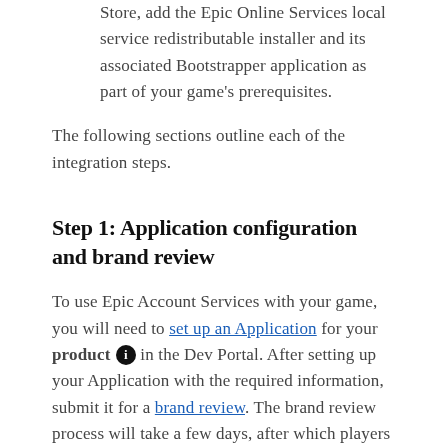Store, add the Epic Online Services local service redistributable installer and its associated Bootstrapper application as part of your game's prerequisites.
The following sections outline each of the integration steps.
Step 1: Application configuration and brand review
To use Epic Account Services with your game, you will need to set up an Application for your product in the Dev Portal. After setting up your Application with the required information, submit it for a brand review. The brand review process will take a few days, after which players of your game will be able to log in using Epic accounts. For development purposes only, those Epic